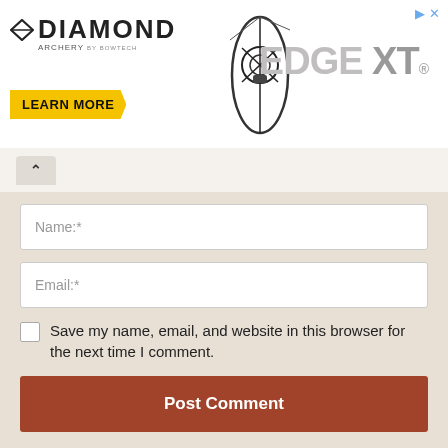[Figure (illustration): Diamond Archery advertisement banner featuring the Edge XT bow, with Diamond Archery logo, bow silhouette image, EDGE XT gray text logo, Learn More yellow button, and close ad icons.]
Name:*
Email:*
Save my name, email, and website in this browser for the next time I comment.
Post Comment
This site uses Akismet to reduce spam. Learn how your comment data is processed.